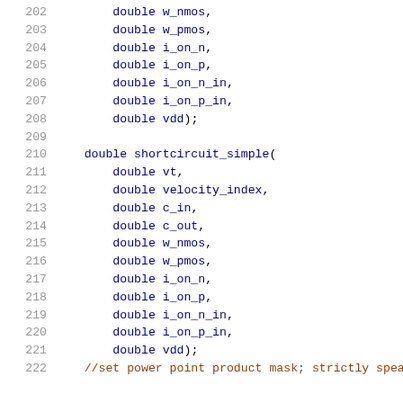202     double w_nmos,
203     double w_pmos,
204     double i_on_n,
205     double i_on_p,
206     double i_on_n_in,
207     double i_on_p_in,
208     double vdd);
209
210 double shortcircuit_simple(
211     double vt,
212     double velocity_index,
213     double c_in,
214     double c_out,
215     double w_nmos,
216     double w_pmos,
217     double i_on_n,
218     double i_on_p,
219     double i_on_n_in,
220     double i_on_p_in,
221     double vdd);
222 //set power point product mask; strictly speaki